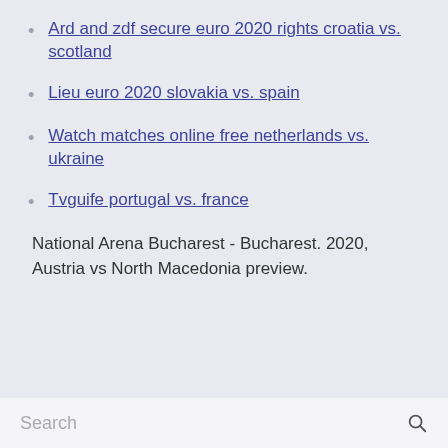Ard and zdf secure euro 2020 rights croatia vs. scotland
Lieu euro 2020 slovakia vs. spain
Watch matches online free netherlands vs. ukraine
Tvguife portugal vs. france
National Arena Bucharest - Bucharest. 2020, Austria vs North Macedonia preview.
Search